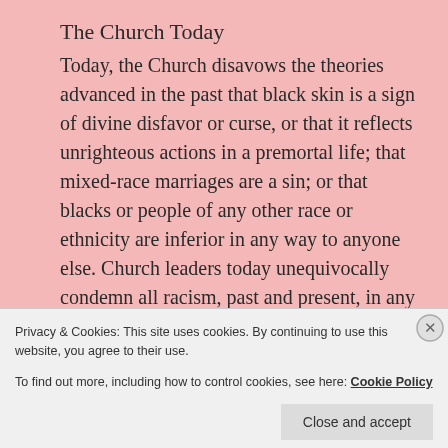The Church Today
Today, the Church disavows the theories advanced in the past that black skin is a sign of divine disfavor or curse, or that it reflects unrighteous actions in a premortal life; that mixed-race marriages are a sin; or that blacks or people of any other race or ethnicity are inferior in any way to anyone else. Church leaders today unequivocally condemn all racism, past and present, in any form.24
Privacy & Cookies: This site uses cookies. By continuing to use this website, you agree to their use.
To find out more, including how to control cookies, see here: Cookie Policy
Close and accept